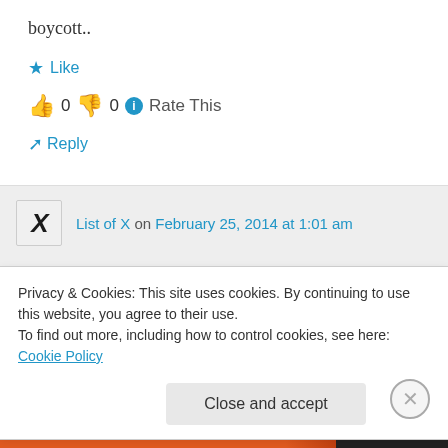boycott..
★ Like
👍 0 👎 0 ℹ Rate This
↳ Reply
List of X on February 25, 2014 at 1:01 am
They already have. If this law is signed, I expect a number of stores will immediately
Privacy & Cookies: This site uses cookies. By continuing to use this website, you agree to their use.
To find out more, including how to control cookies, see here: Cookie Policy
Close and accept